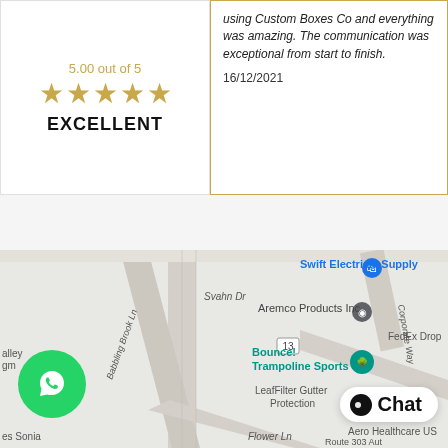5.00 out of 5
[Figure (illustration): Five gold stars rating display]
EXCELLENT
using Custom Boxes Co and everything was amazing. The communication was exceptional from start to finish.
16/12/2021
[Figure (map): Google Maps screenshot showing Svahn Dr, Babbling Brook Ln, Flower Ln, Corporate Way, Swift Electrical Supply, Aremco Products Inc, Bounce! Trampoline Sports, LeafFilter Gutter Protection, Aero Healthcare US, FedEx Drop, Route 303 Aut, road marker 13, WhatsApp button, Chat button]
Chat